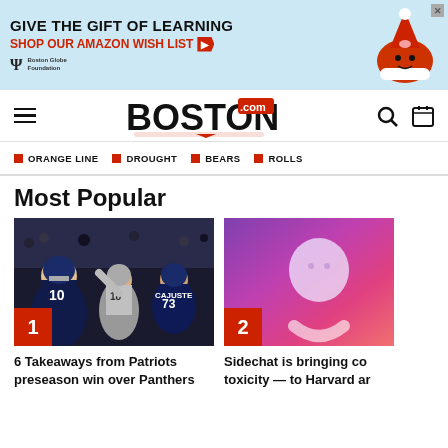[Figure (infographic): Advertisement banner: GIVE THE GIFT OF LEARNING / SHOP OUR AMAZON WISH LIST with Boston Globe Foundation logo and Santa illustration]
Boston.com
ORANGE LINE
DROUGHT
BEARS
ROLLS
Most Popular
[Figure (photo): New England Patriots preseason game against Panthers, players in action on field, number 1 badge]
6 Takeaways from Patriots preseason win over Panthers
[Figure (illustration): Sidechat app illustration with colorful gradient background, smiley face icon, number 2 badge]
Sidechat is bringing co toxicity — to Harvard ar